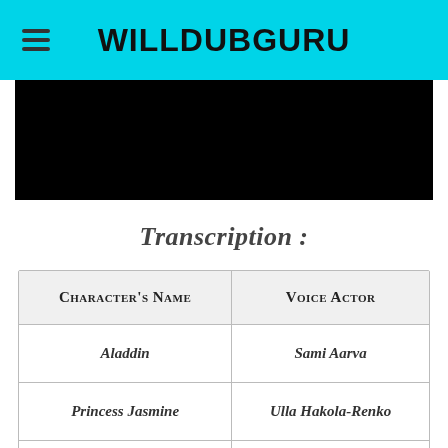WILLDUBGURU
[Figure (other): Black media player or video thumbnail area]
Transcription :
| Character's Name | Voice Actor |
| --- | --- |
| Aladdin | Sami Aarva |
| Princess Jasmine | Ulla Hakola-Renko |
| The Genie | Vepo Matti Loiri |